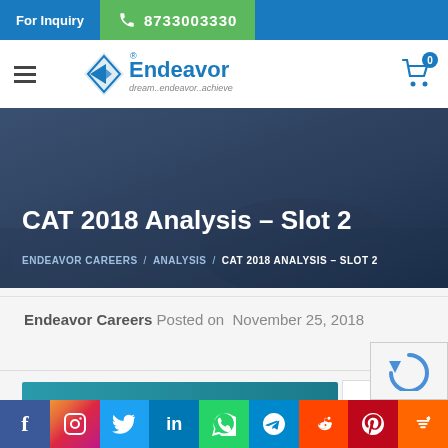For Inquiry  8733003330
[Figure (logo): Endeavor Careers logo with tagline dream..endeavor..achieve]
CAT 2018 Analysis – Slot 2
ENDEAVOR CAREERS / ANALYSIS / CAT 2018 ANALYSIS – SLOT 2
Endeavor Careers Posted on November 25, 2018
[Figure (screenshot): Teal/blue content image area with Endeavor watermark logo]
f  Instagram  Twitter  in  WhatsApp  Telegram  Reddit  Pinterest  Share